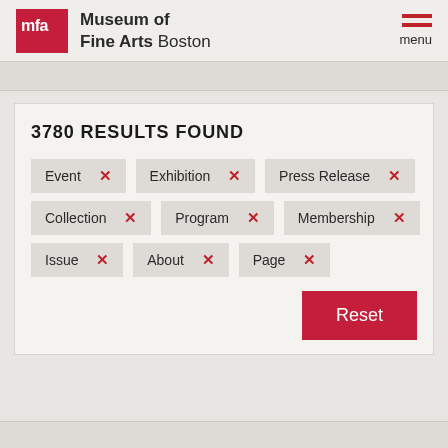[Figure (logo): MFA red square logo with 'mfa' text and Museum of Fine Arts Boston wordmark, plus hamburger menu icon on the right]
3780 RESULTS FOUND
Event ×
Exhibition ×
Press Release ×
Collection ×
Program ×
Membership ×
Issue ×
About ×
Page ×
Reset